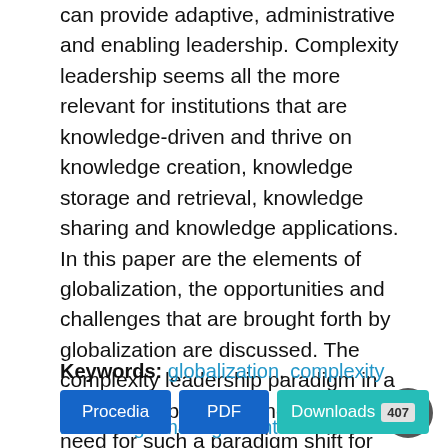can provide adaptive, administrative and enabling leadership. Complexity leadership seems all the more relevant for institutions that are knowledge-driven and thrive on knowledge creation, knowledge storage and retrieval, knowledge sharing and knowledge applications. In this paper are the elements of globalization, the opportunities and challenges that are brought forth by globalization are discussed. The complexity leadership paradigm in a knowledge-based economy and the need for such a paradigm shift for higher education institutions is presented. Further, the paper also discusses the support the leader requires in a knowledge-driven economy through knowledge management initiatives.
Keywords: globalization, complexity leadership, knowledge management